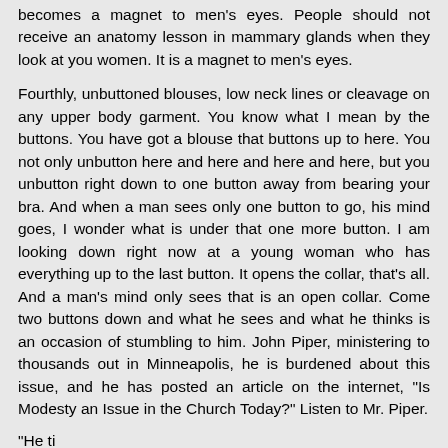becomes a magnet to men's eyes. People should not receive an anatomy lesson in mammary glands when they look at you women. It is a magnet to men's eyes.
Fourthly, unbuttoned blouses, low neck lines or cleavage on any upper body garment. You know what I mean by the buttons. You have got a blouse that buttons up to here. You not only unbutton here and here and here and here, but you unbutton right down to one button away from bearing your bra. And when a man sees only one button to go, his mind goes, I wonder what is under that one more button. I am looking down right now at a young woman who has everything up to the last button. It opens the collar, that's all. And a man's mind only sees that is an open collar. Come two buttons down and what he sees and what he thinks is an occasion of stumbling to him. John Piper, ministering to thousands out in Minneapolis, he is burdened about this issue, and he has posted an article on the internet, "Is Modesty an Issue in the Church Today?" Listen to Mr. Piper.
"He ti...